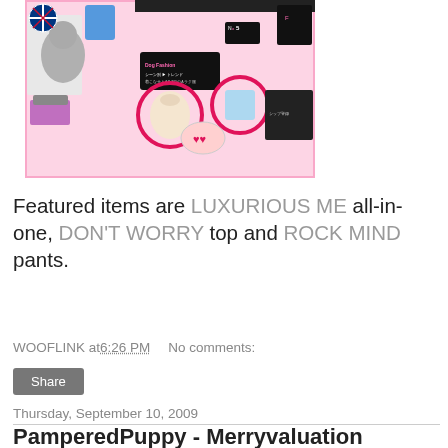[Figure (photo): Japanese dog fashion magazine spread showing various dog clothing items including outfits labeled Dog Fashion, with pink background and pink circle highlights around featured items including LUXURIOUS ME all-in-one, DON'T WORRY top, and ROCK MIND pants.]
Featured items are LUXURIOUS ME all-in-one, DON'T WORRY top and ROCK MIND pants.
WOOFLINK at 6:26 PM   No comments:
Share
Thursday, September 10, 2009
PamperedPuppy - Merryvaluation